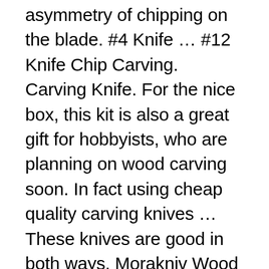asymmetry of chipping on the blade. #4 Knife … #12 Knife Chip Carving. Carving Knife. For the nice box, this kit is also a great gift for hobbyists, who are planning on wood carving soon. In fact using cheap quality carving knives … These knives are good in both ways. Morakniv Wood Carving 120 Knife with Laminated Steel Blade, 2.4-Inch. Do you wants to read more about best Chainsaws - click here. Besides, all the elements are backed by a lifetime warranty. Old Timer 24OT Splinter Carvin' 6in, Traditional Folding Whittling Knife. Yet, you can carve spoons and bowls with this knife, it will need a lot of sanding afterward. It has